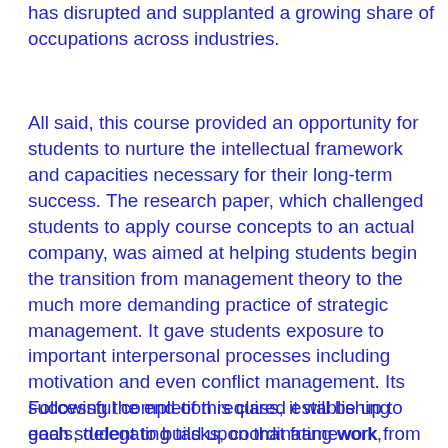has disrupted and supplanted a growing share of occupations across industries.
All said, this course provided an opportunity for students to nurture the intellectual framework and capacities necessary for their long-term success. The research paper, which challenged students to apply course concepts to an actual company, was aimed at helping students begin the transition from management theory to the much more demanding practice of strategic management. It gave students exposure to important interpersonal processes including motivation and even conflict management. Its successful completion required establishing goals, delegating tasks, coordinating work, monitoring progress, seeking feedback, and making adjustments. The effort was, in substance, an early exposure to the realities of management.
Following the end of this class, it will be up to each student to build upon that framework from future study, career